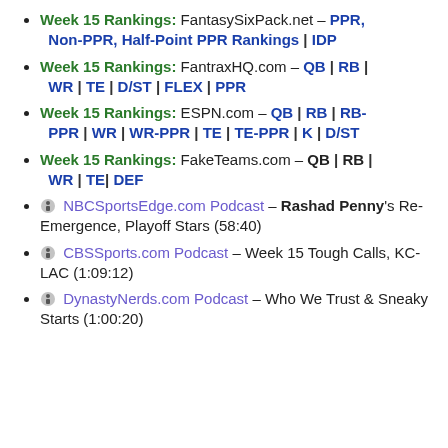Week 15 Rankings: FantasySixPack.net – PPR, Non-PPR, Half-Point PPR Rankings | IDP
Week 15 Rankings: FantraxHQ.com – QB | RB | WR | TE | D/ST | FLEX | PPR
Week 15 Rankings: ESPN.com – QB | RB | RB-PPR | WR | WR-PPR | TE | TE-PPR | K | D/ST
Week 15 Rankings: FakeTeams.com – QB | RB | WR | TE| DEF
NBCSportsEdge.com Podcast – Rashad Penny's Re-Emergence, Playoff Stars (58:40)
CBSSports.com Podcast – Week 15 Tough Calls, KC-LAC (1:09:12)
DynastyNerds.com Podcast – Who We Trust & Sneaky Starts (1:00:20)